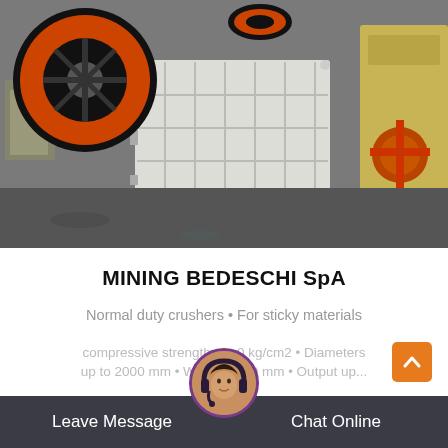[Figure (photo): Industrial jaw crusher machine in white with orange/black flywheels on a factory floor, with a yellow crusher machine visible on the right side.]
MINING BEDESCHI SpA
Normal duty crushers • For sticky materials compressive strength 0 kg/cm2 • Diameters up to 2000 mm • Widths 3000 mm • Output up...
Leave Message   Chat Online